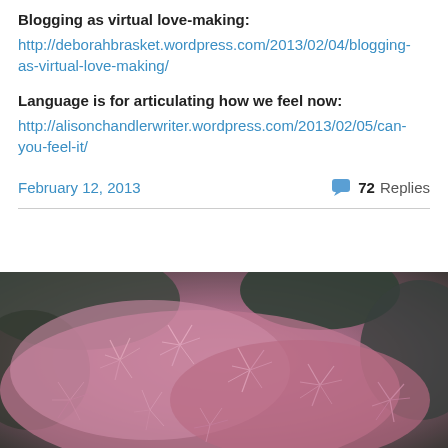Blogging as virtual love-making:
http://deborahbrasket.wordpress.com/2013/02/04/blogging-as-virtual-love-making/
Language is for articulating how we feel now:
http://alisonchandlerwriter.wordpress.com/2013/02/05/can-you-feel-it/
February 12, 2013   72 Replies
[Figure (photo): Close-up photograph of pink spiky plant or cactus with dark green foliage in background]